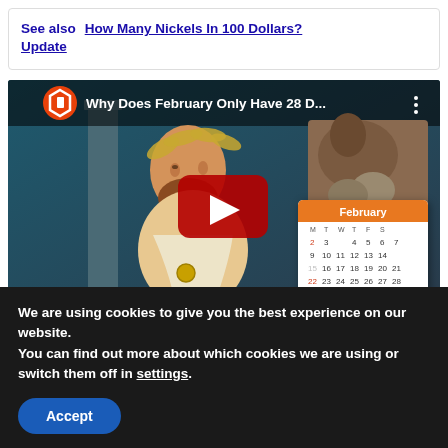See also  How Many Nickels In 100 Dollars? Update
[Figure (screenshot): YouTube video thumbnail showing 'Why Does February Only Have 28 D...' with a YouTube play button overlay, featuring an animated Roman figure and a February calendar]
We are using cookies to give you the best experience on our website.
You can find out more about which cookies we are using or switch them off in settings.
Accept